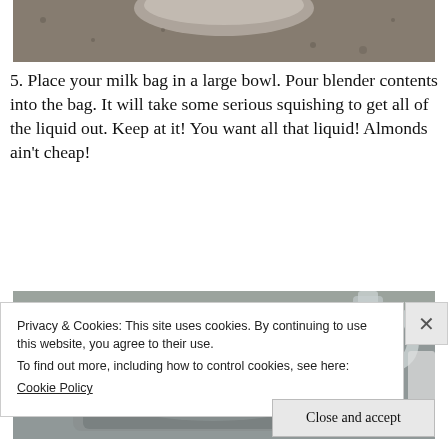[Figure (photo): Partial view of a dark granite countertop with a bowl or plate at the top, cropped at the bottom of the frame.]
5. Place your milk bag in a large bowl. Pour blender contents into the bag. It will take some serious squishing to get all of the liquid out. Keep at it! You want all that liquid! Almonds ain't cheap!
[Figure (photo): Close-up photo of a stainless steel kitchen sink with a chrome faucet, showing the sink basin and faucet handle.]
Privacy & Cookies: This site uses cookies. By continuing to use this website, you agree to their use.
To find out more, including how to control cookies, see here: Cookie Policy
Close and accept